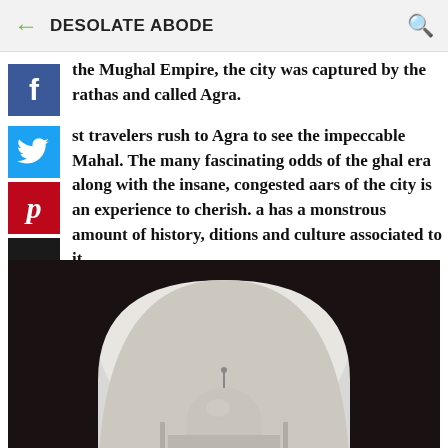DESOLATE ABODE
the Mughal Empire, the city was captured by the rathas and called Agra.
st travelers rush to Agra to see the impeccable Mahal. The many fascinating odds of the ghal era along with the insane, congested aars of the city is an experience to cherish. a has a monstrous amount of history, ditions and culture associated to it.
[Figure (photo): Silhouette of the Taj Mahal dome viewed through a large dark archway, with a pale sky in the background.]